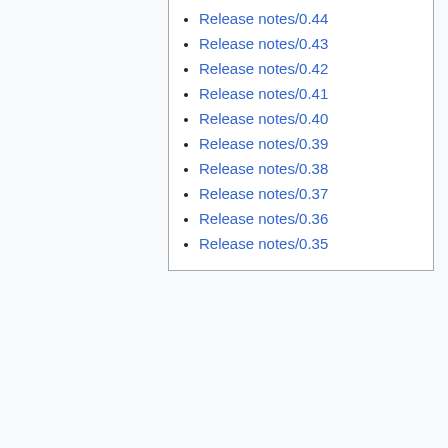Release notes/0.44
Release notes/0.43
Release notes/0.42
Release notes/0.41
Release notes/0.40
Release notes/0.39
Release notes/0.38
Release notes/0.37
Release notes/0.36
Release notes/0.35
This page was last edited on 4 May 2020, at 13:02.
Content is available under GNU General Public License, Version 2 or Later unless otherwise noted.
Privacy policy   About Inkscape Wiki
Disclaimers